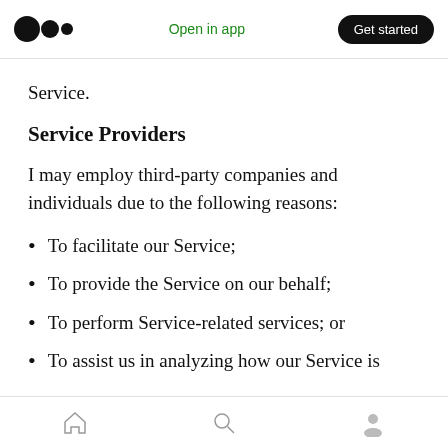Open in app | Get started
Service.
Service Providers
I may employ third-party companies and individuals due to the following reasons:
To facilitate our Service;
To provide the Service on our behalf;
To perform Service-related services; or
To assist us in analyzing how our Service is
Home | Search | Profile